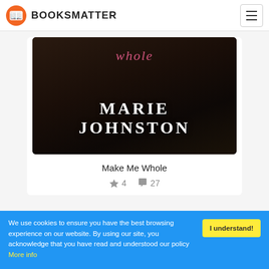BOOKSMATTER
[Figure (illustration): Book cover for 'Make Me Whole' by Marie Johnston. Dark background with author name 'MARIE JOHNSTON' in large serif white letters and cursive script title in pink.]
Make Me Whole
★ 4  💬 27
We use cookies to ensure you have the best browsing experience on our website. By using our site, you acknowledge that you have read and understood our policy More info